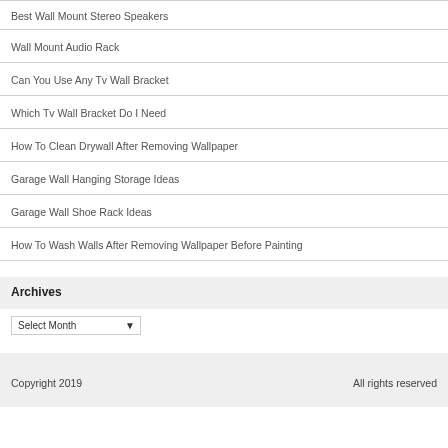Best Wall Mount Stereo Speakers
Wall Mount Audio Rack
Can You Use Any Tv Wall Bracket
Which Tv Wall Bracket Do I Need
How To Clean Drywall After Removing Wallpaper
Garage Wall Hanging Storage Ideas
Garage Wall Shoe Rack Ideas
How To Wash Walls After Removing Wallpaper Before Painting
Archives
Select Month
Copyright 2019    All rights reserved